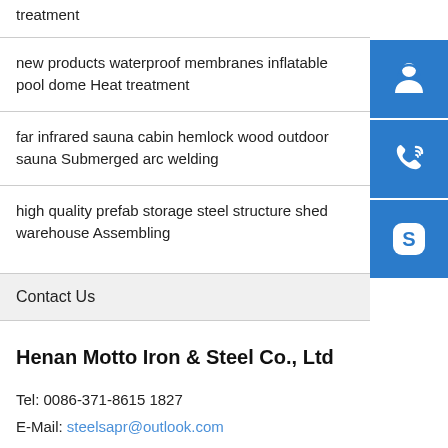treatment
new products waterproof membranes inflatable pool dome Heat treatment
far infrared sauna cabin hemlock wood outdoor sauna Submerged arc welding
high quality prefab storage steel structure shed warehouse Assembling
Contact Us
Henan Motto Iron & Steel Co., Ltd
Tel: 0086-371-8615 1827
E-Mail: steelsapr@outlook.com
Address: Development Zone, Zhengzhou, China